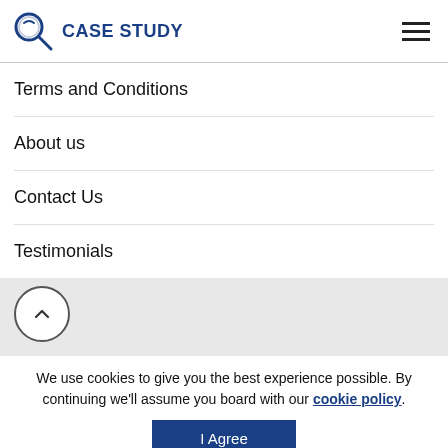[Figure (logo): Magnifying glass icon with CASE STUDY text in blue, plus hamburger menu icon on the right]
Terms and Conditions
About us
Contact Us
Testimonials
We use cookies to give you the best experience possible. By continuing we'll assume you board with our cookie policy.
I Agree